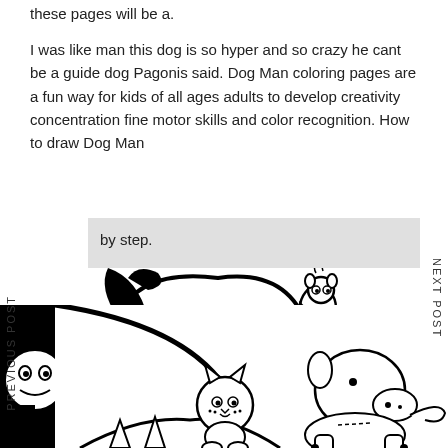these pages will be a.
I was like man this dog is so hyper and so crazy he cant be a guide dog Pagonis said. Dog Man coloring pages are a fun way for kids of all ages adults to develop creativity concentration fine motor skills and color recognition. How to draw Dog Man by step.
PREVIOUS POST
NEXT POST
[Figure (illustration): Dog Man coloring page illustration showing cartoon Dog Man character with a large black and white dog head, a small character being tossed in the air wearing a scarf, other cartoon characters including what appears to be Cat Kid, a policeman character, and a small dog]
[Figure (illustration): Bottom portion of Dog Man coloring page showing more cartoon characters including a figure with top hat, a cat character, and a dog character]